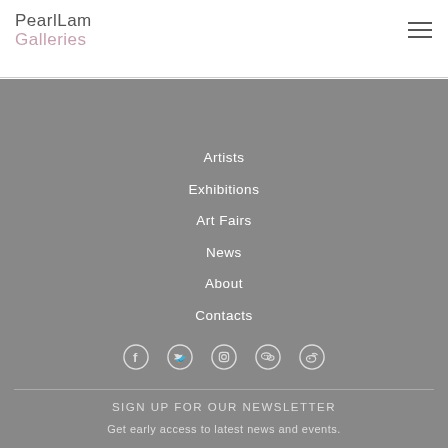Pearl Lam Galleries
Artists
Exhibitions
Art Fairs
News
About
Contacts
[Figure (infographic): Social media icons: Facebook, Twitter, Instagram, WeChat, Weibo]
SIGN UP FOR OUR NEWSLETTER
Get early access to latest news and events.